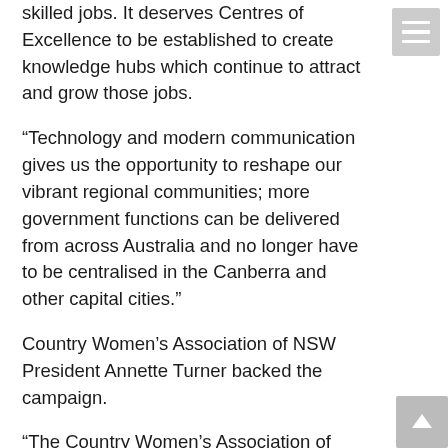skilled jobs. It deserves Centres of Excellence to be established to create knowledge hubs which continue to attract and grow those jobs.
“Technology and modern communication gives us the opportunity to reshape our vibrant regional communities; more government functions can be delivered from across Australia and no longer have to be centralised in the Canberra and other capital cities.”
Country Women’s Association of NSW President Annette Turner backed the campaign.
“The Country Women’s Association of New South Wales is committed to supporting the growth of rural and regional communities and we believe decentralisation can contribute to this by boosting employment and economic growth,” Ms Turner said.
“We encourage every Australian living in a rural or regional area to have their say on decentralisation. Make your